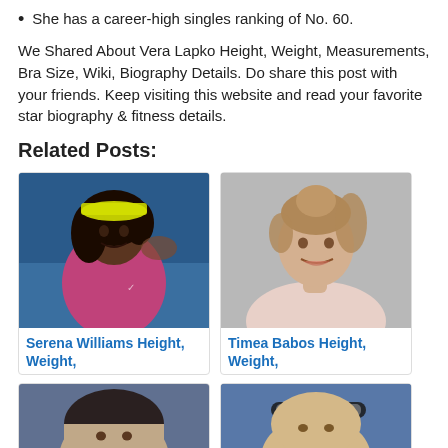She has a career-high singles ranking of No. 60.
We Shared About Vera Lapko Height, Weight, Measurements, Bra Size, Wiki, Biography Details. Do share this post with your friends. Keep visiting this website and read your favorite star biography & fitness details.
Related Posts:
[Figure (photo): Photo of Serena Williams in pink athletic wear with yellow headband, raising arm]
Serena Williams Height, Weight,
[Figure (photo): Portrait photo of Timea Babos with hair up, wearing light pink top, smiling]
Timea Babos Height, Weight,
[Figure (photo): Partial photo of female tennis player with dark hair]
[Figure (photo): Partial photo of female tennis player with headband in arena setting]